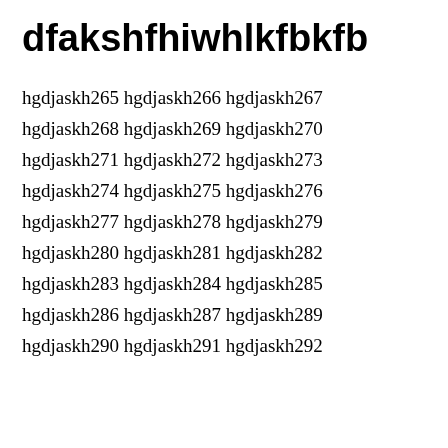dfakshfhiwhlkfbkfb
hgdjaskh265 hgdjaskh266 hgdjaskh267
hgdjaskh268 hgdjaskh269 hgdjaskh270
hgdjaskh271 hgdjaskh272 hgdjaskh273
hgdjaskh274 hgdjaskh275 hgdjaskh276
hgdjaskh277 hgdjaskh278 hgdjaskh279
hgdjaskh280 hgdjaskh281 hgdjaskh282
hgdjaskh283 hgdjaskh284 hgdjaskh285
hgdjaskh286 hgdjaskh287 hgdjaskh289
hgdjaskh290 hgdjaskh291 hgdjaskh292